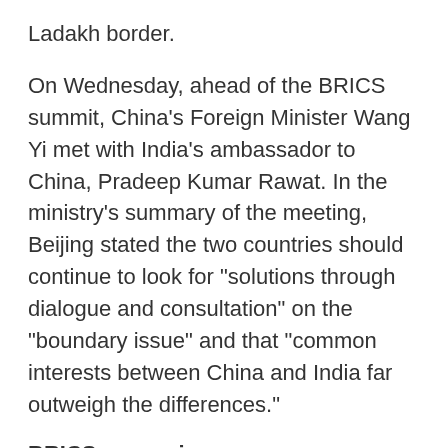Ladakh border.
On Wednesday, ahead of the BRICS summit, China's Foreign Minister Wang Yi met with India's ambassador to China, Pradeep Kumar Rawat. In the ministry's summary of the meeting, Beijing stated the two countries should continue to look for "solutions through dialogue and consultation" on the "boundary issue" and that "common interests between China and India far outweigh the differences."
BRICS expansion
Additionally, China has supported the